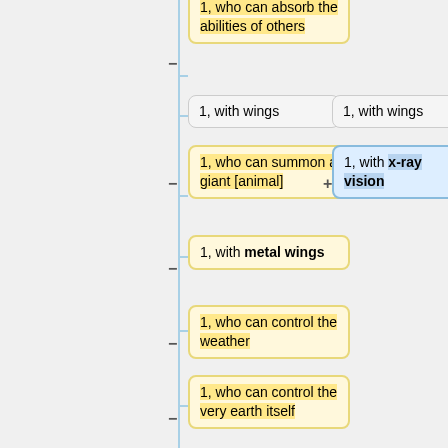[Figure (flowchart): A vertical flowchart/tree diagram showing list items with yellow highlighted nodes on the left branch and a blue highlighted node on the right branch. Nodes include: '1, who can absorb the abilities of others', '1, with wings' (gray, two instances), '1, who can summon a giant [animal]', '1, with x-ray vision' (blue node), '1, with metal wings', '1, who can control the weather', '1, who can control the very earth itself', '1, who has immeasurable strength'. Connected by a vertical blue line with – and + connectors.]